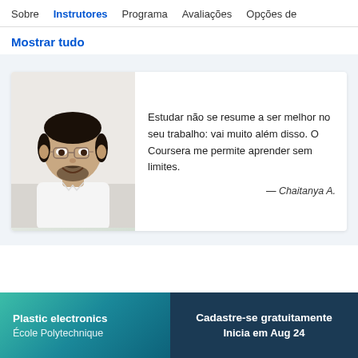Sobre  Instrutores  Programa  Avaliações  Opções de
Mostrar tudo
[Figure (photo): Testimonial card with photo of a young man with glasses and beard smiling, wearing white shirt, alongside quote text]
Estudar não se resume a ser melhor no seu trabalho: vai muito além disso. O Coursera me permite aprender sem limites.
— Chaitanya A.
Plastic electronics
École Polytechnique
Cadastre-se gratuitamente
Inicia em Aug 24